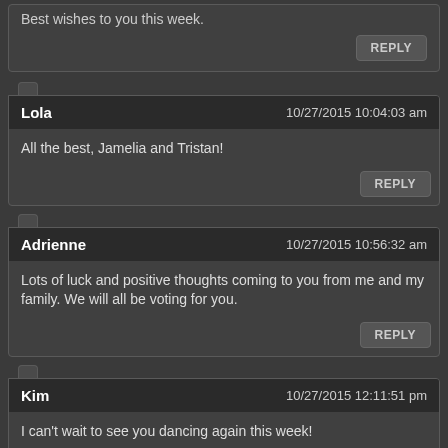Best wishes to you this week.
Lola  10/27/2015 10:04:03 am
All the best, Jamelia and Tristan!
Adrienne  10/27/2015 10:56:32 am
Lots of luck and positive thoughts coming to you from me and my family. We will all be voting for you.
Kim  10/27/2015 12:11:51 pm
I can't wait to see you dancing again this week!